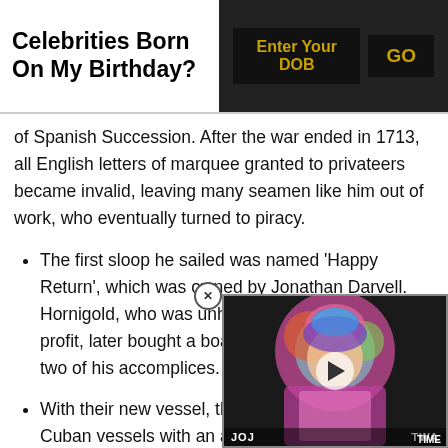Celebrities Born On My Birthday?
of Spanish Succession. After the war ended in 1713, all English letters of marquee granted to privateers became invalid, leaving many seamen like him out of work, who eventually turned to piracy.
The first sloop he sailed was named 'Happy Return', which was owned by Jonathan Darvell. Hornigold, who was unhappy about his shares of profit, later bought a boat from an Eleutheran with two of his accomplices.
With their new vessel, they Cuban vessels with an app
[Figure (screenshot): Video player overlay showing a person in colorful costume with a play button, labeled JOJ and TWA TIME]